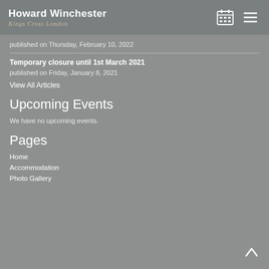Howard Winchester Kings Cross London
published on Thursday, February 10, 2022
Temporary closure until 1st March 2021
published on Friday, January 8, 2021
View All Articles
Upcoming Events
We have no upcoming events.
Pages
Home
Accommodation
Photo Gallery